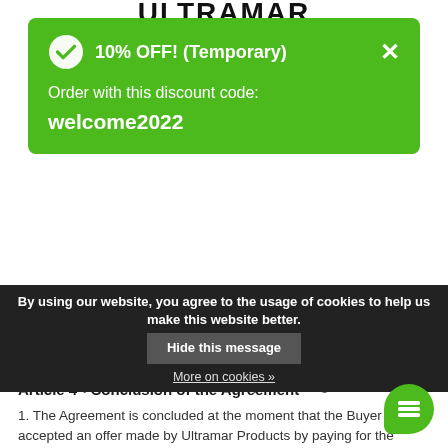ULTRAMAR
automatically apply to repeat orders. Offers are valid only until stocks last and according to the 'on sale' principle.
Article 4 - Conclusion of the Agreement
1. The Agreement is concluded at the moment that the Buyer has accepted an offer made by Ultramar Products by paying for the Product in question.
2. An Offer can be made by Ultramar Products via the website.
3. If the Buyer has accepted the Offer by concluding an
confirm the Agreement with th...
e-mail.
4. Should the acceptance (on minor points) deviate from the Offer, Ultramar Products shall not be bound but...
[Figure (screenshot): Green popup notification showing '10% OFF! (Temporary)' discount with code 'welcome2022' and a green checkmark circle icon, X close button]
By using our website, you agree to the usage of cookies to help us make this website better.
Hide this message
More on cookies »